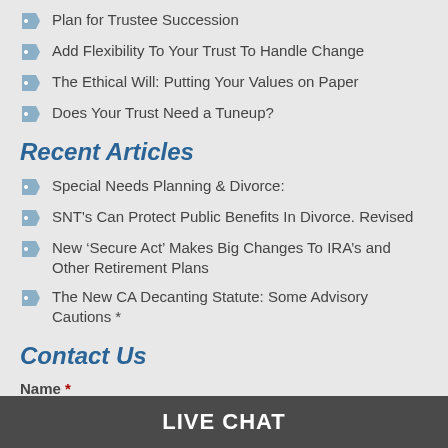Plan for Trustee Succession
Add Flexibility To Your Trust To Handle Change
The Ethical Will: Putting Your Values on Paper
Does Your Trust Need a Tuneup?
Recent Articles
Special Needs Planning & Divorce:
SNT's Can Protect Public Benefits In Divorce. Revised
New ‘Secure Act’ Makes Big Changes To IRA’s and Other Retirement Plans
The New CA Decanting Statute: Some Advisory Cautions *
Contact Us
Name *
LIVE CHAT